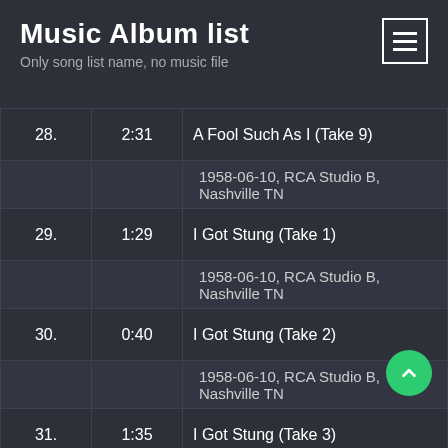Music Album list
Only song list name, no music file
| # | Time | Title |
| --- | --- | --- |
| 28. | 2:31 | A Fool Such As I (Take 9) |
|  |  | 1958-06-10, RCA Studio B, Nashville TN |
| 29. | 1:29 | I Got Stung (Take 1) |
|  |  | 1958-06-10, RCA Studio B, Nashville TN |
| 30. | 0:40 | I Got Stung (Take 2) |
|  |  | 1958-06-10, RCA Studio B, Nashville TN |
| 31. | 1:35 | I Got Stung (Take 3) |
|  |  | 1958-06-10, RCA Studio B, Nashville TN |
| 32. | 0:26 | I Got Stung (Take 4) |
|  |  | 1958-06-10, RCA Studio B, Nashville TN |
| 33. | 0:32 | I Got Stung (Take 5) |